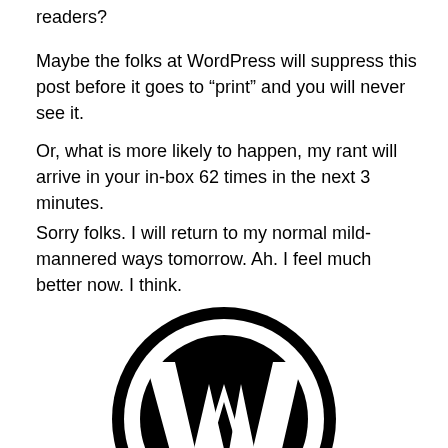readers?
Maybe the folks at WordPress will suppress this post before it goes to “print” and you will never see it.
Or, what is more likely to happen, my rant will arrive in your in-box 62 times in the next 3 minutes.
Sorry folks. I will return to my normal mild-mannered ways tomorrow. Ah. I feel much better now. I think.
[Figure (logo): WordPress logo: black circle with a bold white W letter inside]